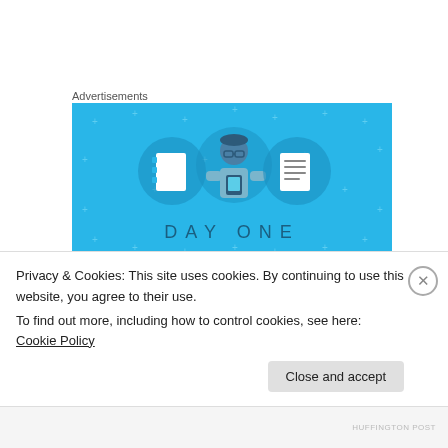Advertisements
[Figure (illustration): Day One app advertisement banner on blue background showing a person holding a phone, flanked by two notebook/journal icons in circles, with 'DAY ONE' text at the bottom.]
wrightsolution on January 24, 2016 at 2:57 pm
Privacy & Cookies: This site uses cookies. By continuing to use this website, you agree to their use.
To find out more, including how to control cookies, see here: Cookie Policy